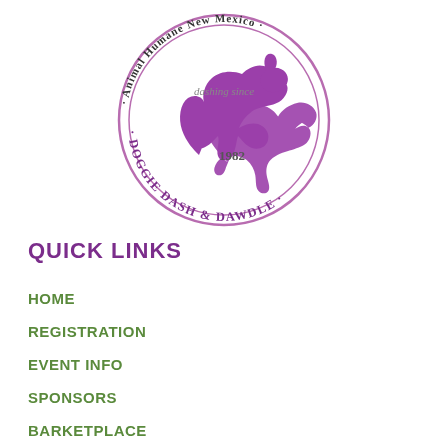[Figure (logo): Circular logo for Animal Humane New Mexico Doggie Dash & Dawdle. Purple dog silhouette in center running, text 'dashing since' and '1982' inside circle, outer ring text reads 'Animal Humane New Mexico · DOGGIE DASH & DAWDLE ·']
QUICK LINKS
HOME
REGISTRATION
EVENT INFO
SPONSORS
BARKETPLACE